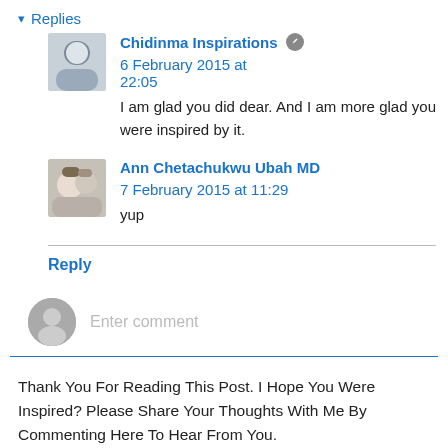▾ Replies
Chidinma Inspirations 🖊 6 February 2015 at 22:05
I am glad you did dear. And I am more glad you were inspired by it.
Ann Chetachukwu Ubah MD 7 February 2015 at 11:29
yup
Reply
Enter comment
Thank You For Reading This Post. I Hope You Were Inspired? Please Share Your Thoughts With Me By Commenting Here To Hear From You.